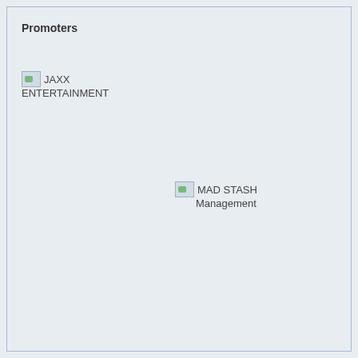Promoters
[Figure (logo): JAXX ENTERTAINMENT logo placeholder with small image icon]
[Figure (logo): MAD STASH Management logo placeholder with small image icon]